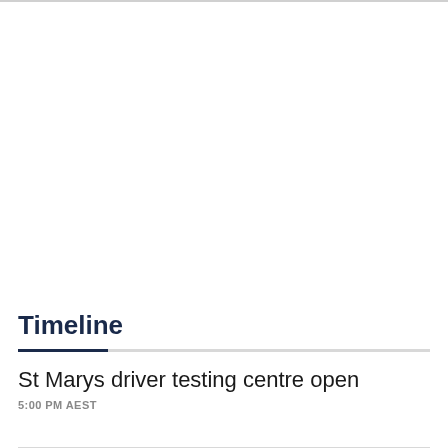Timeline
St Marys driver testing centre open
5:00 PM AEST